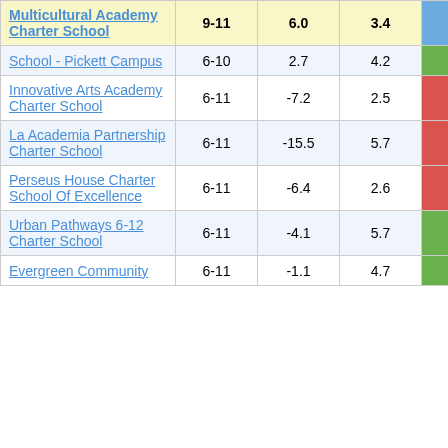| School Name | Grades | Score1 | Score2 | Score3 |
| --- | --- | --- | --- | --- |
| Multicultural Academy Charter School | 9-11 | 6.0 | 3.4 | 1.77 |
| School - Pickett Campus | 6-10 | 2.7 | 4.2 | 0.65 |
| Innovative Arts Academy Charter School | 6-11 | -7.2 | 2.5 | -2.83 |
| La Academia Partnership Charter School | 6-11 | -15.5 | 5.7 | -2.70 |
| Perseus House Charter School Of Excellence | 6-11 | -6.4 | 2.6 | -2.50 |
| Urban Pathways 6-12 Charter School | 6-11 | -4.1 | 5.7 | -0.72 |
| Evergreen Community | 6-11 | -1.1 | 4.7 | -0.23 |